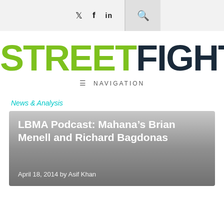Twitter  Facebook  LinkedIn  Search
[Figure (logo): Street Fight logo — STREET in green, FIGHT in dark navy, bold sans-serif]
≡ NAVIGATION
News & Analysis
LBMA Podcast: Mahana's Brian Menell and Richard Bagdonas
April 18, 2014 by Asif Khan